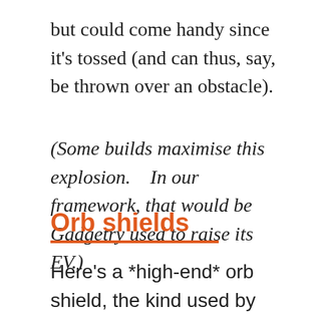but could come handy since it's tossed (and can thus, say, be thrown over an obstacle).
(Some builds maximise this explosion.    In our framework, that would be Gadgetry used to raise its EV.)
Orb shields
Here's a *high-end* orb shield, the kind used by one of the Player Character ℹ